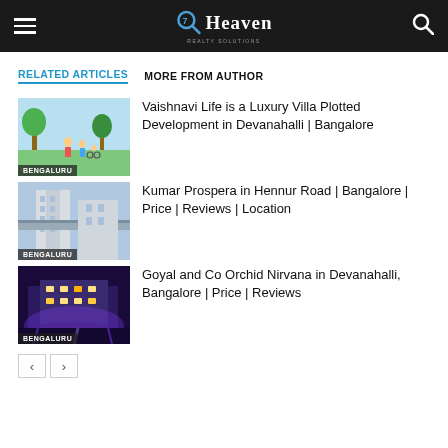7th Heaven — site header with hamburger menu and search icon
RELATED ARTICLES    MORE FROM AUTHOR
[Figure (illustration): Cartoon illustration of a family in a green park setting with trees]
BENGALURU
Vaishnavi Life is a Luxury Villa Plotted Development in Devanahalli | Bangalore
[Figure (photo): Photo of a modern apartment building with walkway bridge]
BENGALURU
Kumar Prospera in Hennur Road | Bangalore | Price | Reviews | Location
[Figure (photo): Photo of a modern building illuminated at dusk with purple/blue lighting]
BENGALURU
Goyal and Co Orchid Nirvana in Devanahalli, Bangalore | Price | Reviews